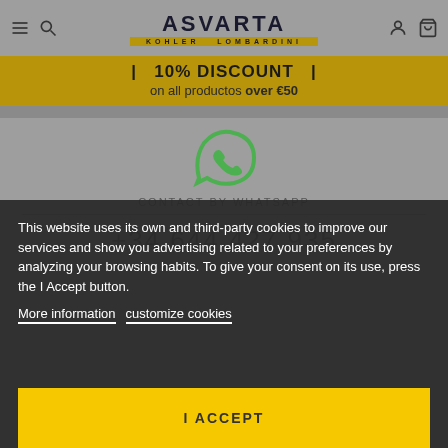ASVARTA KOHLER LOMBARDINI — navigation header with menu, search, account, and cart icons
| 10% DISCOUNT | on all productos over €50
[Figure (logo): WhatsApp logo icon (green speech bubble with phone)]
CONTACT BY WHATSAPP
+34 644 427 935
This website uses its own and third-party cookies to improve our services and show you advertising related to your preferences by analyzing your browsing habits. To give your consent on its use, press the I Accept button.
More information   customize cookies
I ACCEPT